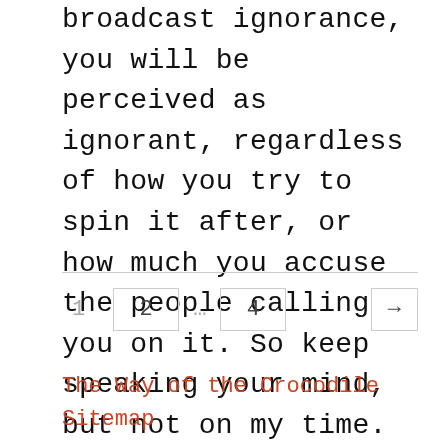broadcast ignorance, you will be perceived as ignorant, regardless of how you try to spin it after, or how much you accuse the people calling you on it. So keep speaking your mind, but not on my time.
1 2 ... 4 →
The Way of the Crocodile
Sitemap